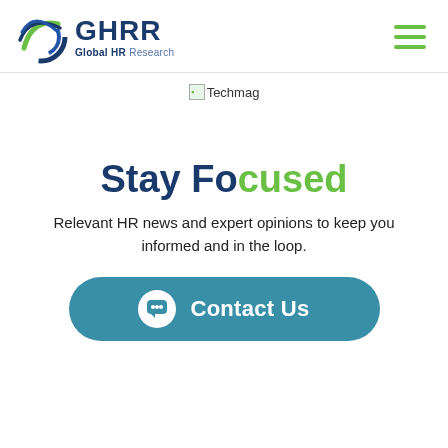GHRR Global HR Research
[Figure (logo): GHRR Global HR Research logo with circular globe icon in blue and green]
Techmag
Stay Focused
Relevant HR news and expert opinions to keep you informed and in the loop.
Contact Us